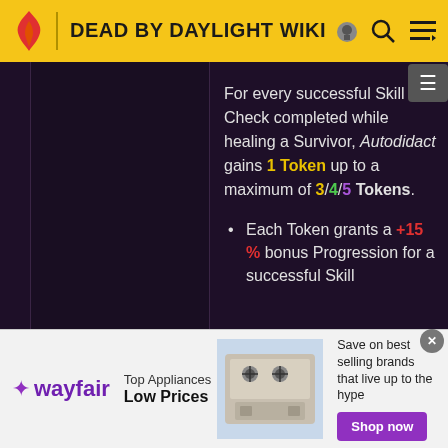DEAD BY DAYLIGHT WIKI
For every successful Skill Check completed while healing a Survivor, Autodidact gains 1 Token up to a maximum of 3/4/5 Tokens.
Each Token grants a +15 % bonus Progression for a successful Skill
[Figure (screenshot): Wayfair advertisement banner: Top Appliances Low Prices, Save on best selling brands that live up to the hype, Shop now button]